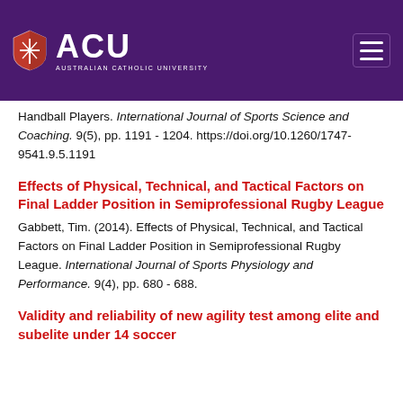[Figure (logo): ACU (Australian Catholic University) logo with shield icon on purple header background, plus hamburger menu icon]
Handball Players. International Journal of Sports Science and Coaching. 9(5), pp. 1191 - 1204. https://doi.org/10.1260/1747-9541.9.5.1191
Effects of Physical, Technical, and Tactical Factors on Final Ladder Position in Semiprofessional Rugby League
Gabbett, Tim. (2014). Effects of Physical, Technical, and Tactical Factors on Final Ladder Position in Semiprofessional Rugby League. International Journal of Sports Physiology and Performance. 9(4), pp. 680 - 688.
Validity and reliability of new agility test among elite and subelite under 14 soccer